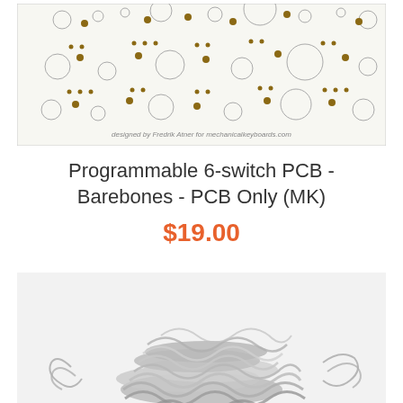[Figure (photo): PCB board image showing circular holes and golden contact points pattern with text 'designed by Fredrik Atner for mechanicalkeyboards.com' at bottom]
Programmable 6-switch PCB - Barebones - PCB Only (MK)
$19.00
[Figure (photo): A pile of silver metallic springs]